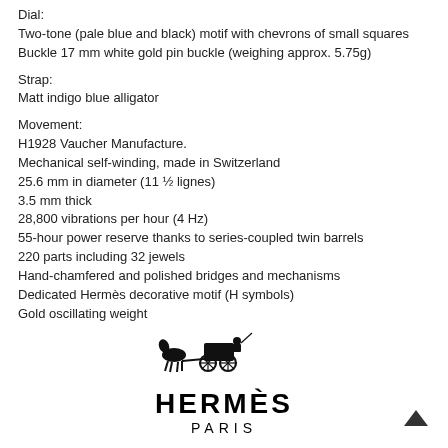Dial:
Two-tone (pale blue and black) motif with chevrons of small squares
Buckle 17 mm white gold pin buckle (weighing approx. 5.75g)
Strap:
Matt indigo blue alligator
Movement:
H1928 Vaucher Manufacture.
Mechanical self-winding, made in Switzerland
25.6 mm in diameter (11 ½ lignes)
3.5 mm thick
28,800 vibrations per hour (4 Hz)
55-hour power reserve thanks to series-coupled twin barrels
220 parts including 32 jewels
Hand-chamfered and polished bridges and mechanisms
Dedicated Hermès decorative motif (H symbols)
Gold oscillating weight
[Figure (logo): Hermès Paris logo with horse and carriage illustration above bold text HERMÈS PARIS]